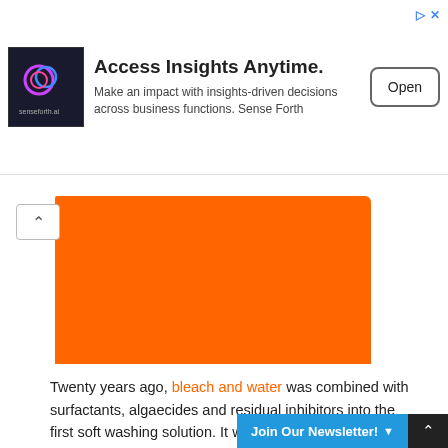[Figure (infographic): Advertisement banner for senseforth.ai: Access Insights Anytime. Make an impact with insights-driven decisions across business functions. Sense Forth. With an Open button.]
[Figure (photo): Orange colored rectangular block image placeholder]
Twenty years ago, bleach and water was combined with surfactants, algaecides and residual inhibitors into the first soft washing solution. It was sprayed directly from an agricultural style tank sprayer to remove mildew, bacteria and other organic stains from building roofs and exteriors.
Soft washing revolutionized the roof and exterior cleaning industry by allowing more carefully metered chemical solutions to be applied to building surfaces for the benefit of cleaning that surface chemically without pressure. Because of that, in the last two decades, soft washing has become the primary means...